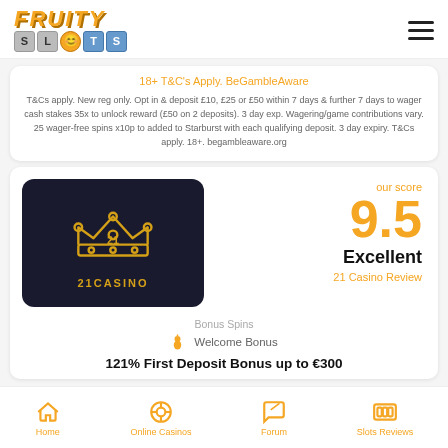[Figure (logo): Fruity Slots logo - orange text with slot machine letter tiles]
[Figure (other): Hamburger menu icon (three horizontal lines)]
18+ T&C's Apply. BeGambleAware
T&Cs apply. New reg only. Opt in & deposit £10, £25 or £50 within 7 days & further 7 days to wager cash stakes 35x to unlock reward (£50 on 2 deposits). 3 day exp. Wagering/game contributions vary. 25 wager-free spins x10p to added to Starburst with each qualifying deposit. 3 day expiry. T&Cs apply. 18+. begambleaware.org
[Figure (logo): 21 Casino logo - dark background with crown icon and '21CASINO' text in gold]
our score
9.5
Excellent
21 Casino Review
Bonus Spins
Welcome Bonus
121% First Deposit Bonus up to €300
Home   Online Casinos   Forum   Slots Reviews